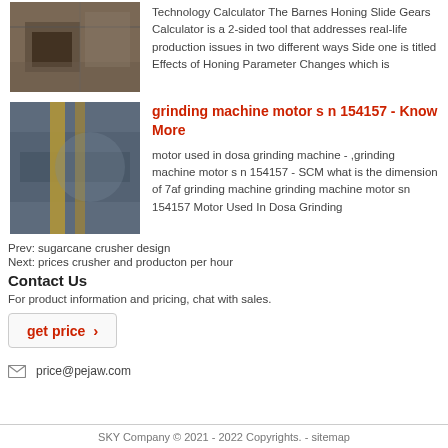[Figure (photo): Construction site image showing industrial furnace or kiln structure]
Technology Calculator The Barnes Honing Slide Gears Calculator is a 2-sided tool that addresses real-life production issues in two different ways Side one is titled Effects of Honing Parameter Changes which is
[Figure (photo): Grinding machine or surface grinder with yellow metal bar]
grinding machine motor s n 154157 - Know More
motor used in dosa grinding machine - ,grinding machine motor s n 154157 - SCM what is the dimension of 7af grinding machine grinding machine motor sn 154157 Motor Used In Dosa Grinding
Prev: sugarcane crusher design
Next: prices crusher and producton per hour
Contact Us
For product information and pricing, chat with sales.
get price ›
price@pejaw.com
SKY Company © 2021 - 2022 Copyrights. - sitemap